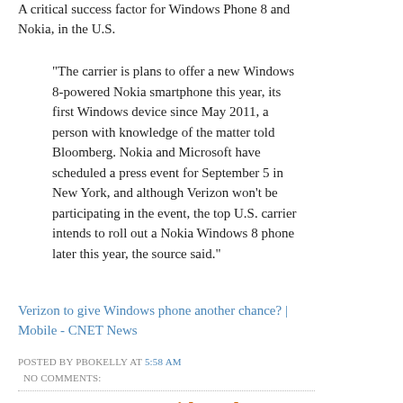A critical success factor for Windows Phone 8 and Nokia, in the U.S.
"The carrier is plans to offer a new Windows 8-powered Nokia smartphone this year, its first Windows device since May 2011, a person with knowledge of the matter told Bloomberg. Nokia and Microsoft have scheduled a press event for September 5 in New York, and although Verizon won't be participating in the event, the top U.S. carrier intends to roll out a Nokia Windows 8 phone later this year, the source said."
Verizon to give Windows phone another chance? | Mobile - CNET News
POSTED BY PBOKELLY AT 5:58 AM
NO COMMENTS:
Zoom.us Group Video Chat Review - Walt Mossberg - Personal Technology - AllThingsD
Business model unknown